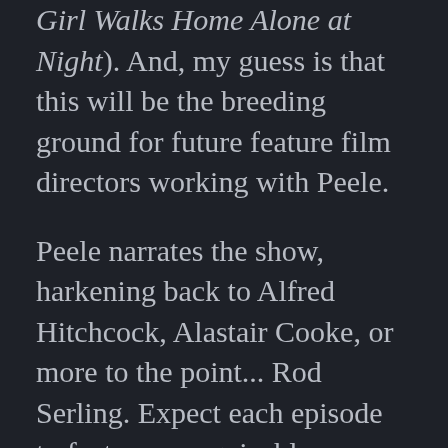Girl Walks Home Alone at Night). And, my guess is that this will be the breeding ground for future feature film directors working with Peele.
Peele narrates the show, harkening back to Alfred Hitchcock, Alastair Cooke, or more to the point... Rod Serling. Expect each episode to feature recognizable Hollywood stars. The acting cast is chock full of a diverse array of hot talent, including Kumail Nanjiani, Steven Yeun, Tracy